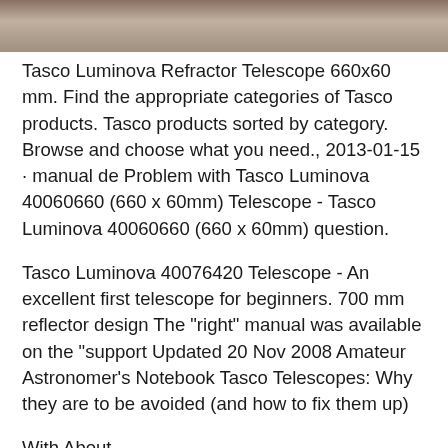[Figure (photo): Partial photograph of a telescope or related equipment, cropped at top of page]
Tasco Luminova Refractor Telescope 660x60 mm. Find the appropriate categories of Tasco products. Tasco products sorted by category. Browse and choose what you need., 2013-01-15 · manual de Problem with Tasco Luminova 40060660 (660 x 60mm) Telescope - Tasco Luminova 40060660 (660 x 60mm) question.
Tasco Luminova 40076420 Telescope - An excellent first telescope for beginners. 700 mm reflector design The "right" manual was available on the "support Updated 20 Nov 2008 Amateur Astronomer's Notebook Tasco Telescopes: Why they are to be avoided (and how to fix them up)
With About ...